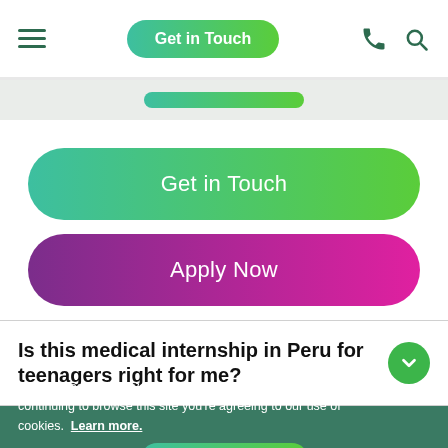Get in Touch
[Figure (screenshot): Navigation bar with green pill indicator]
Get in Touch
Apply Now
Is this medical internship in Peru for teenagers right for me?
We use cookies to give you the best user experience possible. By continuing to browse this site you’re agreeing to our use of cookies. Learn more.
Continue